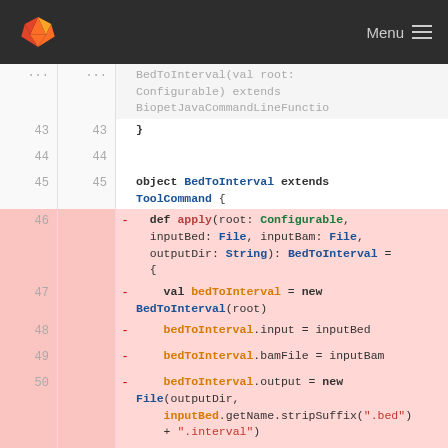[Figure (screenshot): GitLab navigation bar with fox logo and Menu hamburger icon on dark background]
Code diff view showing Scala source file. Lines 43-51 of a file. Lines 46-50 are deleted (shown in red). Content includes object BedToInterval extends ToolCommand, def apply method, val bedToInterval = new BedToInterval(root), bedToInterval.input, bamFile, output assignments.